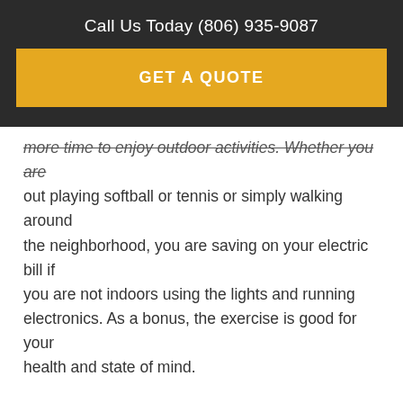Call Us Today (806) 935-9087
GET A QUOTE
more time to enjoy outdoor activities. Whether you are out playing softball or tennis or simply walking around the neighborhood, you are saving on your electric bill if you are not indoors using the lights and running electronics. As a bonus, the exercise is good for your health and state of mind.
Cook Outside in Hot Weather